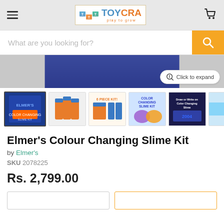TOYCRA play to grow
What are you looking for?
[Figure (screenshot): Product image area showing a dark blue slime kit packaging, partially visible at top of product viewer]
Click to expand
[Figure (photo): Thumbnail gallery of Elmer's Colour Changing Slime Kit product images: product box, bottles, kit components, color changing slime graphic, draw or write on slime, hand stretching slime]
Elmer's Colour Changing Slime Kit
by Elmer's
SKU 2078225
Rs. 2,799.00